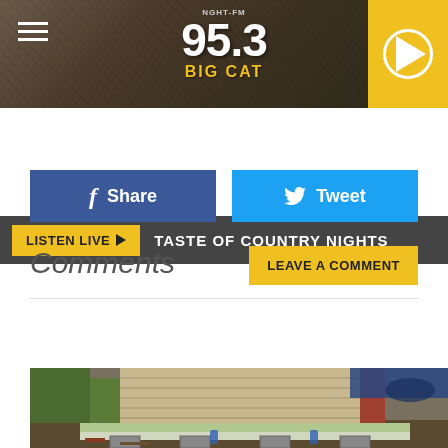[Figure (screenshot): Radio station website header with 95.3 Big Cat logo, hamburger menu, mascot character, yellow play button]
LISTEN LIVE ▶  TASTE OF COUNTRY NIGHTS
[Figure (other): Facebook Share button (blue) and Twitter Tweet button (light blue)]
Comments
[Figure (other): LEAVE A COMMENT button in gold/yellow]
[Figure (other): YOU MAY LIKE banner with SPONSORED LINKS label in gold]
[Figure (photo): Photograph of house foundation repair showing wooden beams and siding being lifted or replaced, construction site]